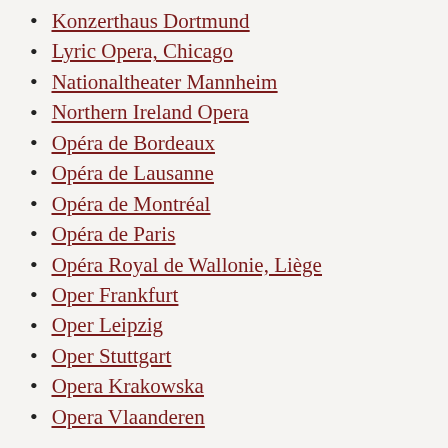Konzerthaus Dortmund
Lyric Opera, Chicago
Nationaltheater Mannheim
Northern Ireland Opera
Opéra de Bordeaux
Opéra de Lausanne
Opéra de Montréal
Opéra de Paris
Opéra Royal de Wallonie, Liège
Oper Frankfurt
Oper Leipzig
Oper Stuttgart
Opera Krakowska
Opera Vlaanderen